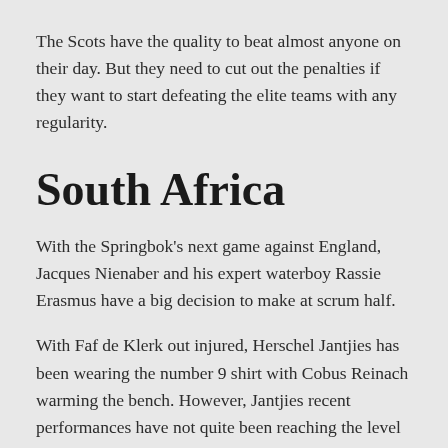The Scots have the quality to beat almost anyone on their day. But they need to cut out the penalties if they want to start defeating the elite teams with any regularity.
South Africa
With the Springbok's next game against England, Jacques Nienaber and his expert waterboy Rassie Erasmus have a big decision to make at scrum half.
With Faf de Klerk out injured, Herschel Jantjies has been wearing the number 9 shirt with Cobus Reinach warming the bench. However, Jantjies recent performances have not quite been reaching the level of when he first came on the scene. While